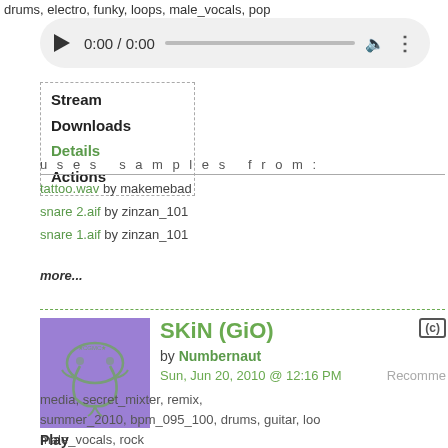drums, electro, funky, loops, male_vocals, pop
[Figure (screenshot): Audio player with play button, 0:00 / 0:00 time display, progress bar, volume icon, and more options icon on a light gray rounded background]
Stream
Downloads
Details
Actions
uses samples from:
tattoo.wav by makemebad
snare 2.aif by zinzan_101
snare 1.aif by zinzan_101
more...
[Figure (illustration): Purple square album art with a stylized green scorpion/creature logo for SKiN (GiO)]
SKiN (GiO)
by Numbernaut
Sun, Jun 20, 2010 @ 12:16 PM
Recomme...
media, secret_mixter, remix, summer_2010, bpm_095_100, drums, guitar, loo... male_vocals, rock
Play